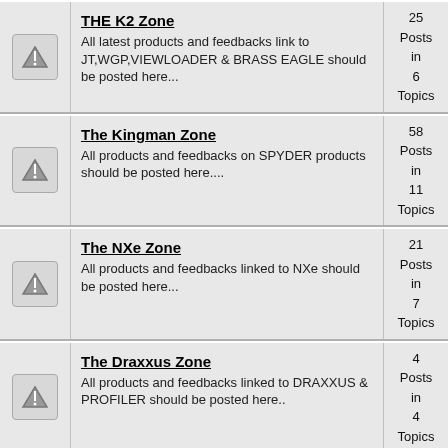THE K2 Zone — All latest products and feedbacks link to JT,WGP,VIEWLOADER & BRASS EAGLE should be posted here... — 25 Posts in 6 Topics
The Kingman Zone — All products and feedbacks on SPYDER products should be posted here.... — 58 Posts in 11 Topics
The NXe Zone — All products and feedbacks linked to NXe should be posted here... — 21 Posts in 7 Topics
The Draxxus Zone — All products and feedbacks linked to DRAXXUS & PROFILER should be posted here.. — 4 Posts in 4 Topics
The Planet Eclipse Zone — All products and feedbacks linked to the PLANET E should be posted here Ego/XSV... — 54 Posts in 9 Topics